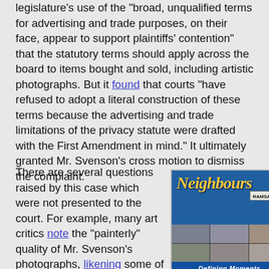legislature's use of the "broad, unqualified terms for advertising and trade purposes, on their face, appear to support plaintiffs' contention" that the statutory terms should apply across the board to items bought and sold, including artistic photographs. But it found that courts "have refused to adopt a literal construction of these terms because the advertising and trade limitations of the privacy statute were drafted with the First Amendment in mind." It ultimately granted Mr. Svenson's cross motion to dismiss the complaint.
There are several questions raised by this case which were not presented to the court. For example, many art critics note the "painterly" quality of Mr. Svenson's photographs, likening some of his work to the paintings of John Singer Sargent. Extrapolating from this
[Figure (photo): Cover of a book or DVD titled 'Neighbours' with a Ramsay Street sign, showing a blue background with gold italic script title and a grid of photos of cast members below, with 'Defining Moments' text at the bottom.]